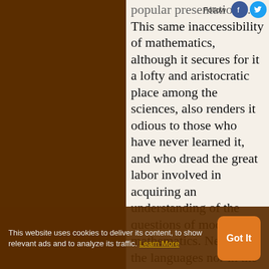popular presentation … This same inaccessibility of mathematics, although it secures for it a lofty and aristocratic place among the sciences, also renders it odious to those who have never learned it, and who dread the great labor involved in acquiring an understanding of the questions of modern mathematics. Neither in the languages nor in the natural sciences are the investigations and results so closely interdependent as to
This website uses cookies to deliver its content, to show relevant ads and to analyze its traffic. Learn More